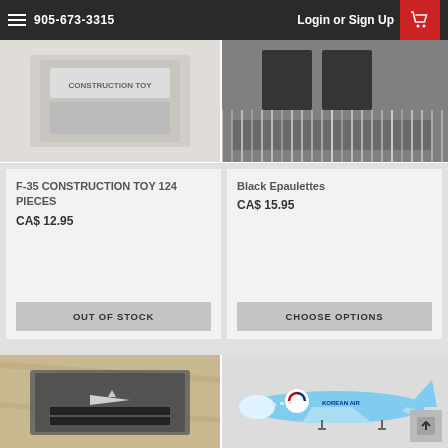905-673-3315  Login or Sign Up
[Figure (photo): F-35 Construction Toy box top image]
[Figure (photo): Black Epaulettes product image]
F-35 CONSTRUCTION TOY 124 PIECES
CA$ 12.95
OUT OF STOCK
Black Epaulettes
CA$ 15.95
CHOOSE OPTIONS
[Figure (photo): Black epaulettes on wooden background]
[Figure (photo): Korean Air model airplane]